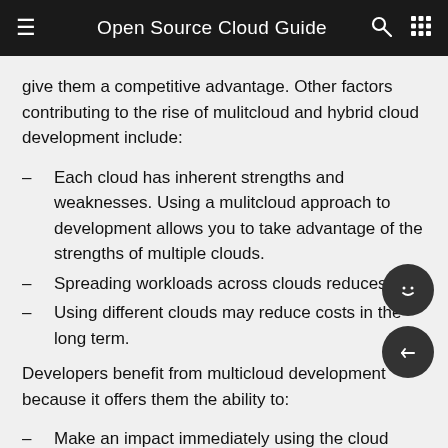Open Source Cloud Guide
give them a competitive advantage. Other factors contributing to the rise of mulitcloud and hybrid cloud development include:
Each cloud has inherent strengths and weaknesses. Using a mulitcloud approach to development allows you to take advantage of the strengths of multiple clouds.
Spreading workloads across clouds reduces risk.
Using different clouds may reduce costs in the long term.
Developers benefit from multicloud development because it offers them the ability to:
Make an impact immediately using the cloud skills they have, while growing their skills in other clouds